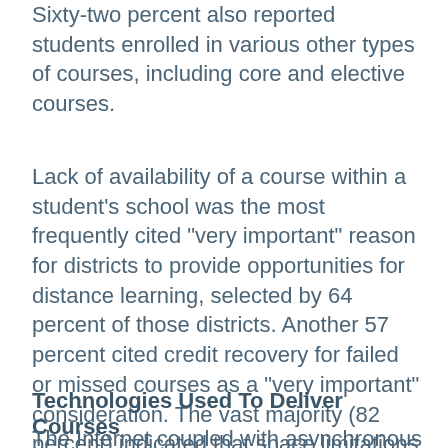Sixty-two percent also reported students enrolled in various other types of courses, including core and elective courses.
Lack of availability of a course within a student's school was the most frequently cited "very important" reason for districts to provide opportunities for distance learning, selected by 64 percent of those districts. Another 57 percent cited credit recovery for failed or missed courses as a "very important" consideration. The vast majority (82 percent) indicated that space limitations and revenue generation were unimportant considerations.
Technologies Used To Deliver Courses
The Internet coupled with asynchronous